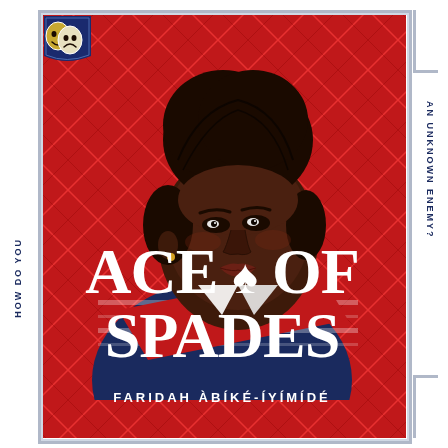[Figure (illustration): Book cover for 'Ace of Spades' by Faridah Àbíké-Íyímídé. Red argyle diamond-pattern background with a young Black woman in profile (hair in bun, wearing a navy striped top) prominently centered. A theatre comedy/tragedy mask icon appears in the top-left corner. The title 'ACE OF SPADES' is displayed in large bold white serif font with a spade suit symbol replacing the 'A'. The author's name appears below the title. The card is framed like a playing card with decorative notched borders. Vertical text on the left reads 'HOW DO YOU' and on the right reads 'AN UNKNOWN ENEMY?'.]
ACE OF SPADES
FARIDAH ÀBÍKÉ-ÍYÍMÍDÉ
HOW DO YOU
AN UNKNOWN ENEMY?